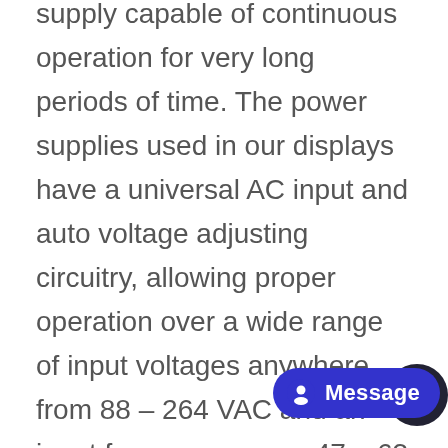supply capable of continuous operation for very long periods of time. The power supplies used in our displays have a universal AC input and auto voltage adjusting circuitry, allowing proper operation over a wide range of input voltages anywhere from 88 – 264 VAC and an input frequency range 47 – 63 Hz. The supplies in a LED display are working 100% of the time, even if the screen is idle. These components must have the ability to operate under extreme heat and humidity.